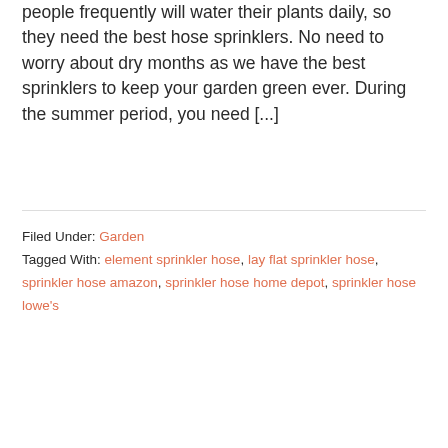people frequently will water their plants daily, so they need the best hose sprinklers. No need to worry about dry months as we have the best sprinklers to keep your garden green ever. During the summer period, you need [...]
Filed Under: Garden
Tagged With: element sprinkler hose, lay flat sprinkler hose, sprinkler hose amazon, sprinkler hose home depot, sprinkler hose lowe's